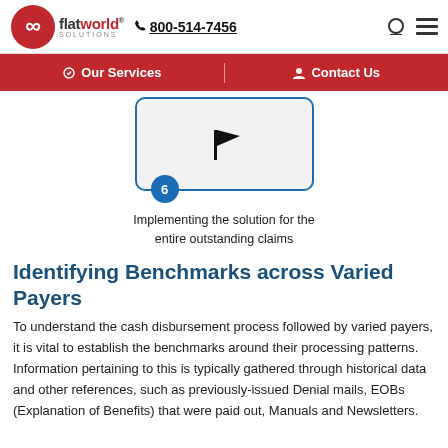flatworld solutions | 800-514-7456
[Figure (infographic): Navigation bar with Our Services and Contact Us links on red background]
[Figure (infographic): Step 6 card with flag icon and blue border, numbered badge showing 6]
Implementing the solution for the entire outstanding claims
Identifying Benchmarks across Varied Payers
To understand the cash disbursement process followed by varied payers, it is vital to establish the benchmarks around their processing patterns. Information pertaining to this is typically gathered through historical data and other references, such as previously-issued Denial mails, EOBs (Explanation of Benefits) that were paid out, Manuals and Newsletters.